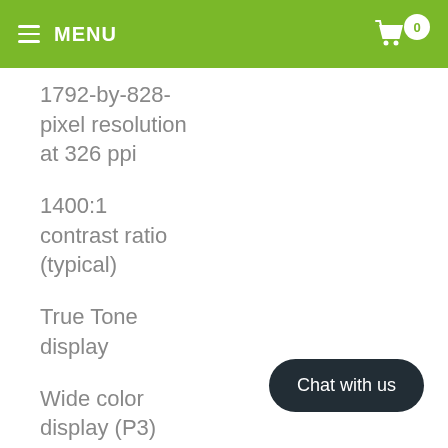MENU
1792-by-828-pixel resolution at 326 ppi
1400:1 contrast ratio (typical)
True Tone display
Wide color display (P3)
625 cd/m2 max brightness
Chat with us